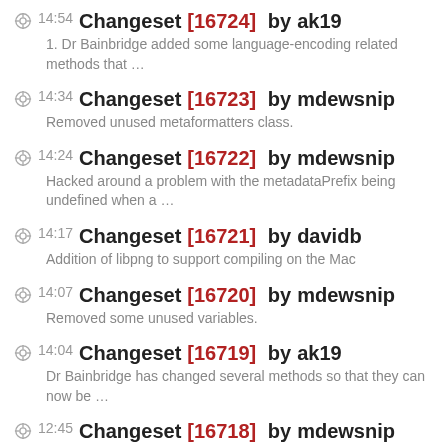14:54 Changeset [16724] by ak19 — 1. Dr Bainbridge added some language-encoding related methods that …
14:34 Changeset [16723] by mdewsnip — Removed unused metaformatters class.
14:24 Changeset [16722] by mdewsnip — Hacked around a problem with the metadataPrefix being undefined when a …
14:17 Changeset [16721] by davidb — Addition of libpng to support compiling on the Mac
14:07 Changeset [16720] by mdewsnip — Removed some unused variables.
14:04 Changeset [16719] by ak19 — Dr Bainbridge has changed several methods so that they can now be …
12:45 Changeset [16718] by mdewsnip — Minor fixes for validation.
Changeset [16717] by mdewsnip